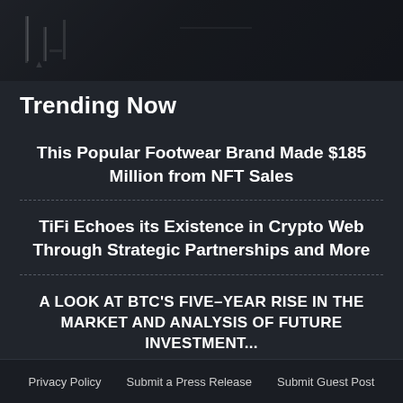[Figure (photo): Dark background image with chart/financial graphic elements at the top of the page]
Trending Now
This Popular Footwear Brand Made $185 Million from NFT Sales
TiFi Echoes its Existence in Crypto Web Through Strategic Partnerships and More
A LOOK AT BTC'S FIVE–YEAR RISE IN THE MARKET AND ANALYSIS OF FUTURE INVESTMENT...
Privacy Policy   Submit a Press Release   Submit Guest Post